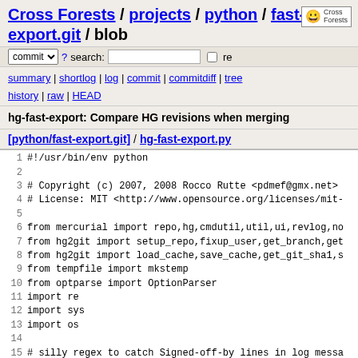Cross Forests / projects / python / fast-export.git / blob
commit  ? search:  re
summary | shortlog | log | commit | commitdiff | tree
history | raw | HEAD
hg-fast-export: Compare HG revisions when merging
[python/fast-export.git] / hg-fast-export.py
1  #!/usr/bin/env python
2
3  # Copyright (c) 2007, 2008 Rocco Rutte <pdmef@gmx.net>
4  # License: MIT <http://www.opensource.org/licenses/mit-
5
6  from mercurial import repo,hg,cmdutil,util,ui,revlog,no
7  from hg2git import setup_repo,fixup_user,get_branch,get
8  from hg2git import load_cache,save_cache,get_git_sha1,s
9  from tempfile import mkstemp
10 from optparse import OptionParser
11 import re
12 import sys
13 import os
14
15 # silly regex to catch Signed-off-by lines in log messa
16 sob_re=re.compile('^Signed-[Oo]ff-[Bb]y: (.+)$')
17 # insert 'checkpoint' command after this many commits c
18 cfg_checkpoint_count=0
19 # write some progress message every this many file cont